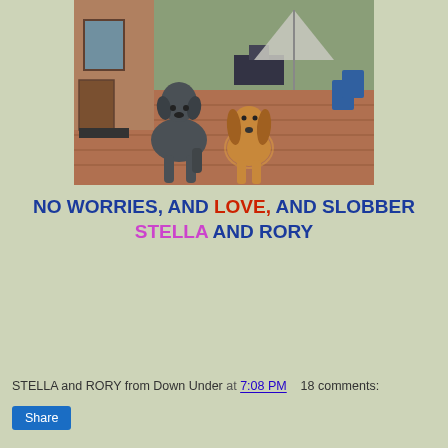[Figure (photo): Two dogs sitting on a brick patio outside a house — a large grey Great Dane on the left and a smaller golden Cocker Spaniel on the right. Outdoor furniture and greenery visible in the background.]
NO WORRIES, AND LOVE, AND SLOBBER STELLA AND RORY
STELLA and RORY from Down Under at 7:08 PM    18 comments:
Share